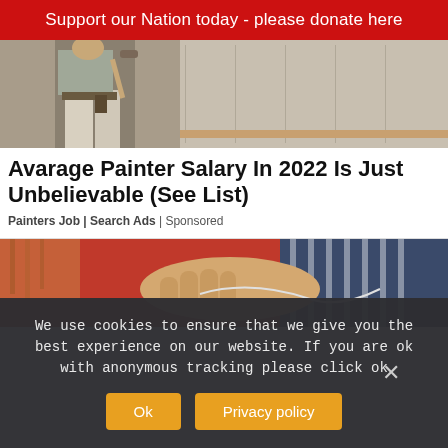Support our Nation today - please donate here
[Figure (photo): A person wearing white work clothes and a tool belt, painting a wall with a roller, viewed from behind.]
Avarage Painter Salary In 2022 Is Just Unbelievable (See List)
Painters Job | Search Ads | Sponsored
[Figure (photo): Close-up of hands holding an audio cable, with a red garment and striped shirt visible in the background.]
We use cookies to ensure that we give you the best experience on our website. If you are ok with anonymous tracking please click ok
Ok   Privacy policy